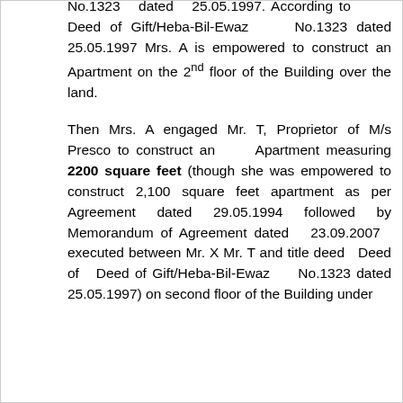No.1323 dated 25.05.1997. According to Deed of Gift/Heba-Bil-Ewaz No.1323 dated 25.05.1997 Mrs. A is empowered to construct an Apartment on the 2nd floor of the Building over the land.
Then Mrs. A engaged Mr. T, Proprietor of M/s Presco to construct an Apartment measuring 2200 square feet (though she was empowered to construct 2,100 square feet apartment as per Agreement dated 29.05.1994 followed by Memorandum of Agreement dated 23.09.2007 executed between Mr. X Mr. T and title deed Deed of Deed of Gift/Heba-Bil-Ewaz No.1323 dated 25.05.1997) on second floor of the Building under